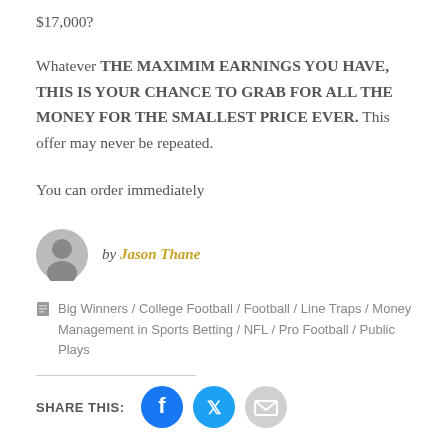$17,000?
Whatever THE MAXIMIM EARNINGS YOU HAVE, THIS IS YOUR CHANCE TO GRAB FOR ALL THE MONEY FOR THE SMALLEST PRICE EVER. This offer may never be repeated.
You can order immediately
by Jason Thane
Big Winners / College Football / Football / Line Traps / Money Management in Sports Betting / NFL / Pro Football / Public Plays
SHARE THIS: